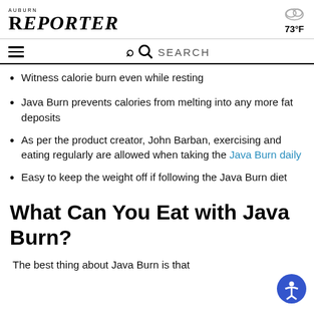Auburn Reporter | 73°F
Witness calorie burn even while resting
Java Burn prevents calories from melting into any more fat deposits
As per the product creator, John Barban, exercising and eating regularly are allowed when taking the Java Burn daily
Easy to keep the weight off if following the Java Burn diet
What Can You Eat with Java Burn?
The best thing about Java Burn is that...